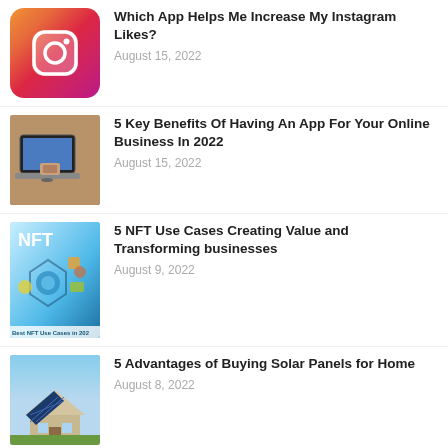[Figure (photo): Instagram app icon on pink/purple gradient background]
Which App Helps Me Increase My Instagram Likes?
August 15, 2022
[Figure (photo): Person working on laptop computer]
5 Key Benefits Of Having An App For Your Online Business In 2022
August 15, 2022
[Figure (photo): NFT use cases infographic with blue background and colorful elements, caption: Best NFT Use Cases in 202]
5 NFT Use Cases Creating Value and Transforming businesses
August 9, 2022
[Figure (photo): House with solar panels on roof]
5 Advantages of Buying Solar Panels for Home
August 8, 2022
[Figure (photo): Mobile app UI design with phone and papers]
8 Surprising Secrets You Should Know About Mobile App UI Design
August 6, 2022